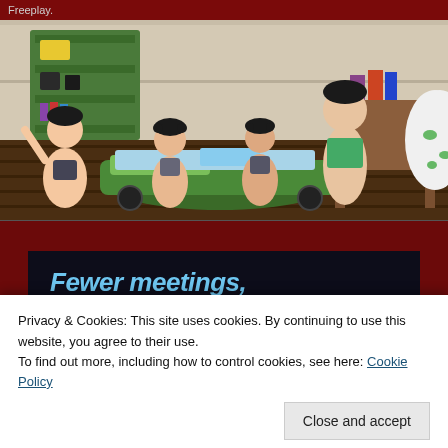Freeplay.
[Figure (screenshot): Screenshot from The Sims 4 showing toddlers in a children's bedroom with green car-shaped bed, shelving unit, and desk. Multiple toddler characters with dark hair visible, one with arm raised.]
[Figure (screenshot): Partial advertisement banner with dark navy background showing bold white italic text 'Fewer meetings, more work.' and a 'Get started for free' button with rounded border.]
Privacy & Cookies: This site uses cookies. By continuing to use this website, you agree to their use.
To find out more, including how to control cookies, see here: Cookie Policy
Close and accept